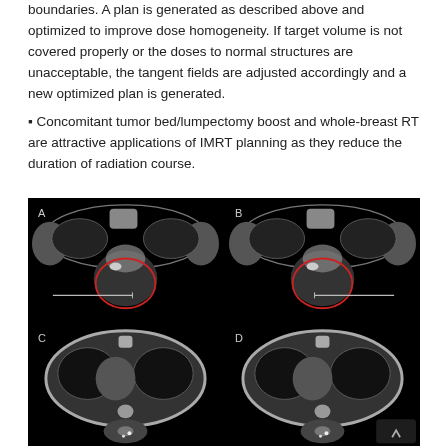boundaries. A plan is generated as described above and optimized to improve dose homogeneity. If target volume is not covered properly or the doses to normal structures are unacceptable, the tangent fields are adjusted accordingly and a new optimized plan is generated.
Concomitant tumor bed/lumpectomy boost and whole-breast RT are attractive applications of IMRT planning as they reduce the duration of radiation course.
[Figure (photo): Four-panel CT scan image (panels A, B, C, D) showing axial CT slices of the chest/breast region. Panels A and B (top row) show CT cross-sections with a red contour outlining a target volume (lumpectomy/tumor bed region) in the breast/chest wall area, with a white horizontal line (field boundary indicator). Panels C and D (bottom row) show CT cross-sections at a different level without the red contour, showing the chest with lung and mediastinal structures visible.]